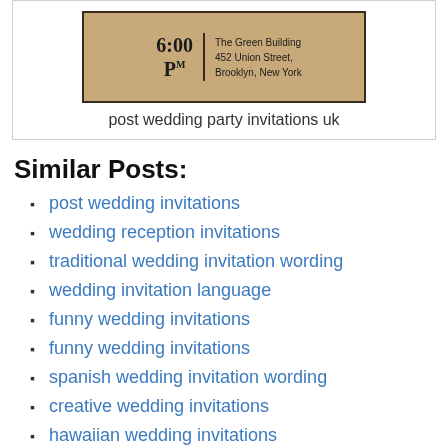[Figure (illustration): A vintage-style wedding invitation card on kraft/burlap background showing '6:00 PM' on the left and 'The Green Building, 452 Union Street, Brooklyn, New York' on the right, with decorative border.]
post wedding party invitations uk
Similar Posts:
post wedding invitations
wedding reception invitations
traditional wedding invitation wording
wedding invitation language
funny wedding invitations
funny wedding invitations
spanish wedding invitation wording
creative wedding invitations
hawaiian wedding invitations